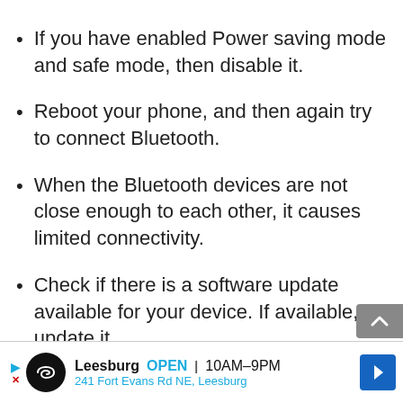If you have enabled Power saving mode and safe mode, then disable it.
Reboot your phone, and then again try to connect Bluetooth.
When the Bluetooth devices are not close enough to each other, it causes limited connectivity.
Check if there is a software update available for your device. If available, update it.
[Figure (other): Advertisement banner: Leesburg OPEN 10AM-9PM, 241 Fort Evans Rd NE, Leesburg]